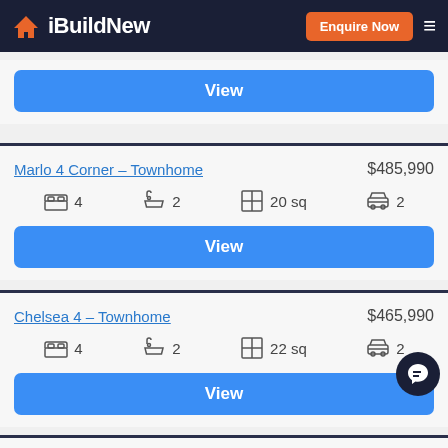iBuildNew — Enquire Now
View (first card, partial)
Marlo 4 Corner – Townhome
$485,990 | 4 beds | 2 baths | 20 sq | 2 cars
View
Chelsea 4 – Townhome
$465,990 | 4 beds | 2 baths | 22 sq | 2 cars
View